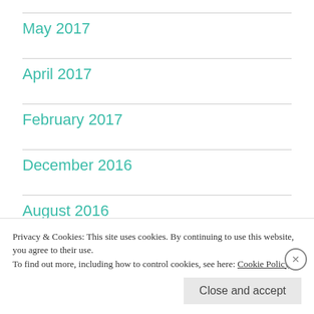May 2017
April 2017
February 2017
December 2016
August 2016
March 2015
Privacy & Cookies: This site uses cookies. By continuing to use this website, you agree to their use.
To find out more, including how to control cookies, see here: Cookie Policy
Close and accept